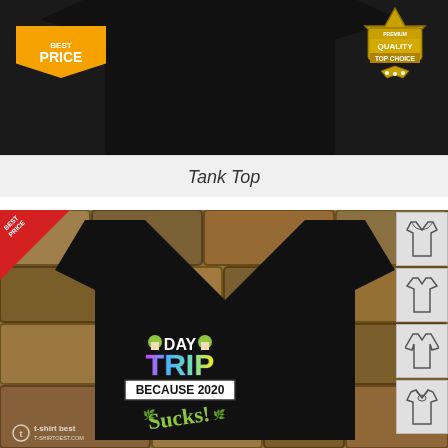[Figure (photo): Black tank top product image with orange Best Price banner in lower left and gold Premium Quality Top Choice badge in upper right]
Tank Top
[Figure (photo): Black v-neck t-shirt with colorful 'Day Trip Because 2020 Sucks!' graphic design on a stone background. Red Best Price triangle badge in upper left. Four clothing style icons on the right side. T-shirt best watermark in lower left.]